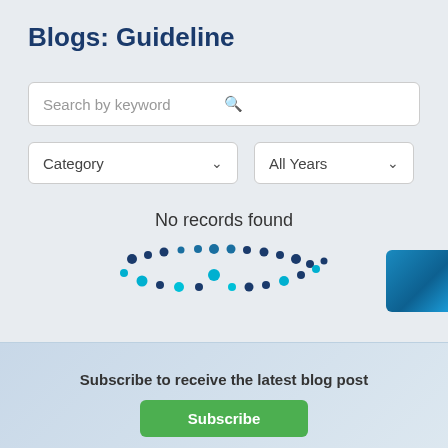Blogs: Guideline
[Figure (screenshot): Search by keyword input box with magnifying glass icon]
[Figure (screenshot): Category dropdown and All Years dropdown filters]
No records found
[Figure (infographic): Dotted circular loading animation in dark blue and cyan colors]
Subscribe to receive the latest blog post
[Figure (other): Blue gradient square button/decoration on the right edge]